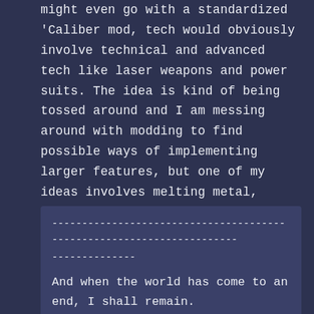might even go with a standardized 'Caliber mod, tech would obviously involve technical and advanced tech like laser weapons and power suits. The idea is kind of being tossed around and I am messing around with modding to find possible ways of implementing larger features, but one of my ideas involves melting metal, prospecting, alloys, and other aspects, not sure about new creatures yet, but also thinking about those for the future...
------------------------------------------------------------------------------ And when the world has come to an end, I shall remain.